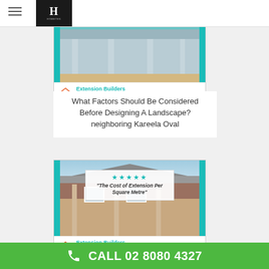Hometek header with hamburger menu and logo
[Figure (photo): Card 1: Extension builders image showing covered patio/ceiling with columns, teal accent stripes, Extension Builders Sydney Experts logo overlay]
What Factors Should Be Considered Before Designing A Landscape? neighboring Kareela Oval
[Figure (photo): Card 2: Photo of brick house exterior with covered patio/veranda, stars rating overlay saying The Cost of Extension Per Square Metre, Extension Builders Sydney Experts logo]
What Should I Ask A Garden Designer? Bordering Gurnee
CALL 02 8080 4327